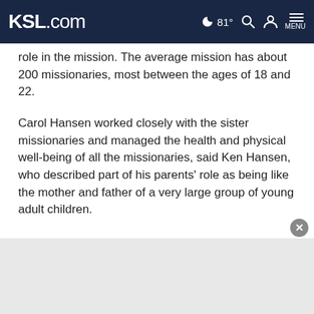KSL.com | 81° | Search | Account | MENU
role in the mission. The average mission has about 200 missionaries, most between the ages of 18 and 22.
Carol Hansen worked closely with the sister missionaries and managed the health and physical well-being of all the missionaries, said Ken Hansen, who described part of his parents' role as being like the mother and father of a very large group of young adult children.
Cookie Notice
We use cookies to improve your experience, analyze site traffic, and to personalize content and ads. By continuing to use our site, you consent to our use of cookies. Please visit our Terms of Use and Privacy Policy for more information.